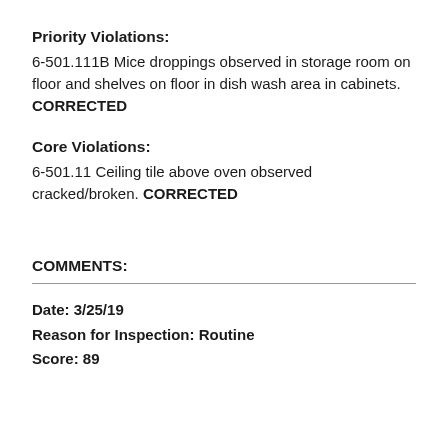Priority Violations:
6-501.111B Mice droppings observed in storage room on floor and shelves on floor in dish wash area in cabinets. CORRECTED
Core Violations:
6-501.11 Ceiling tile above oven observed cracked/broken. CORRECTED
COMMENTS:
Date: 3/25/19
Reason for Inspection: Routine
Score: 89